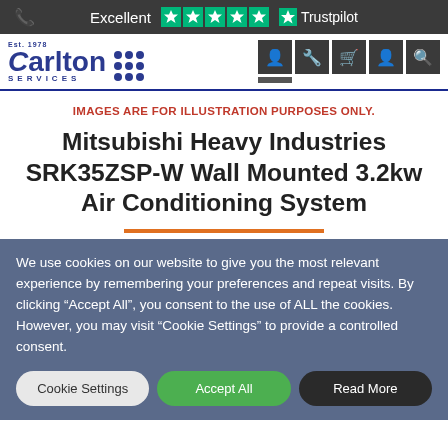Excellent ★★★★★ Trustpilot
[Figure (logo): Carlton Services logo Est. 1978 with blue dots and navigation icons]
IMAGES ARE FOR ILLUSTRATION PURPOSES ONLY.
Mitsubishi Heavy Industries SRK35ZSP-W Wall Mounted 3.2kw Air Conditioning System
We use cookies on our website to give you the most relevant experience by remembering your preferences and repeat visits. By clicking "Accept All", you consent to the use of ALL the cookies. However, you may visit "Cookie Settings" to provide a controlled consent.